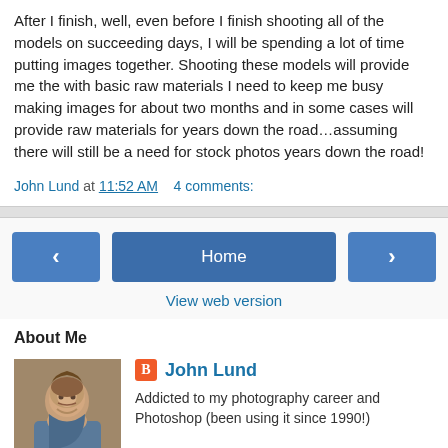After I finish, well, even before I finish shooting all of the models on succeeding days, I will be spending a lot of time putting images together.  Shooting these models will provide me the with basic raw materials I need to keep me busy making images for about two months and in some cases will provide raw materials for years down the road…assuming there will still be a need for stock photos years down the road!
John Lund at 11:52 AM    4 comments:
[Figure (screenshot): Navigation bar with left arrow button, Home button, and right arrow button, followed by 'View web version' link]
About Me
[Figure (photo): Profile photo of John Lund, showing an older man with a beard]
John Lund
Addicted to my photography career and Photoshop (been using it since 1990!)
View my complete profile